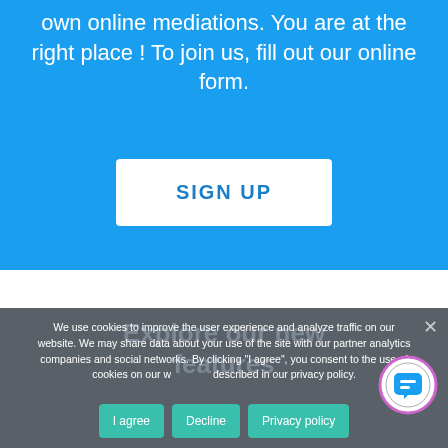own online mediations. You are at the right place ! To join us, fill out our online form.
SIGN UP
Explore our new features
We use cookies to improve the user experience and analyze traffic on our website. We may share data about your use of the site with our partner analytics companies and social networks. By clicking "I agree", you consent to the use of cookies on our website as described in our privacy policy.
I agree
Decline
Privacy policy